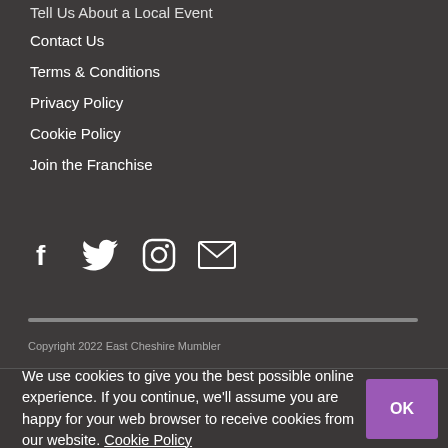Tell Us About a Local Event
Contact Us
Terms & Conditions
Privacy Policy
Cookie Policy
Join the Franchise
[Figure (infographic): Social media icons: Facebook, Twitter, Instagram, Email]
Copyright 2022 East Cheshire Mumbler
We use cookies to give you the best possible online experience. If you continue, we'll assume you are happy for your web browser to receive cookies from our website. Cookie Policy